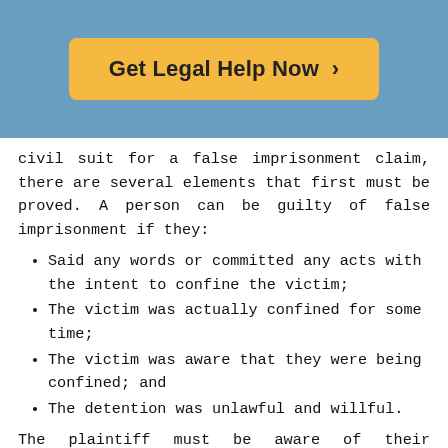[Figure (other): Orange button with text 'Get Legal Help Now >' on a blue background header]
civil suit for a false imprisonment claim, there are several elements that first must be proved. A person can be guilty of false imprisonment if they:
Said any words or committed any acts with the intent to confine the victim;
The victim was actually confined for some time;
The victim was aware that they were being confined; and
The detention was unlawful and willful.
The plaintiff must be aware of their confinement. An example of this would be how if they are asleep when confined and unaware of the situation, the defendant generally will not be found guilty of false imprisonment. In some jurisdictions, the victim cannot have a reasonable means of escape in order for false